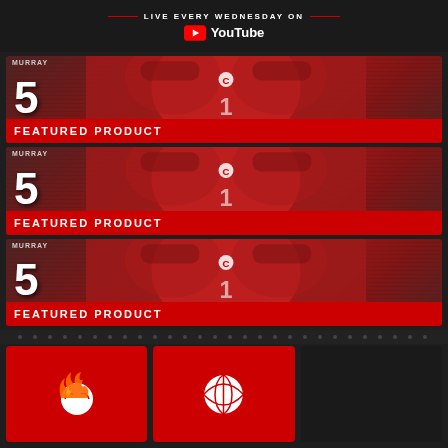LIVE EVERY WEDNESDAY ON
[Figure (logo): YouTube logo with play button icon and 'YouTube' text in white]
[Figure (photo): Football trading card showing player in red Cardinals jersey #1 with captain patch, jersey number 5 on left, MURRAY label top, FEATURED PRODUCT red banner at bottom (repeated 3 times)]
[Figure (infographic): Bottom icons row: red card with flaming baseball icon, red card with basketball icon, dark empty card]